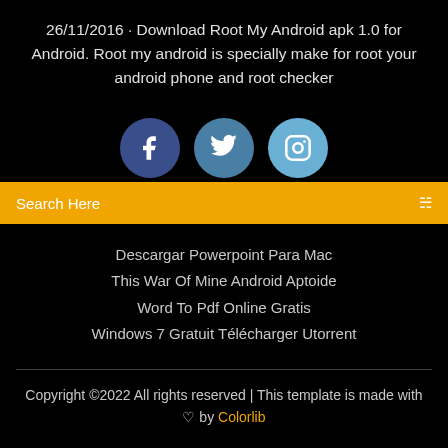26/11/2016 · Download Root My Android apk 1.0 for Android. Root my android is specially make for root your android phone and root checker
[Figure (illustration): Three social media icon circles: Facebook (dark blue), Twitter (medium blue), Instagram (light blue)]
Search Here
Descargar Powerpoint Para Mac
This War Of Mine Android Aptoide
Word To Pdf Online Gratis
Windows 7 Gratuit Télécharger Utorrent
Copyright ©2022 All rights reserved | This template is made with ♡ by Colorlib